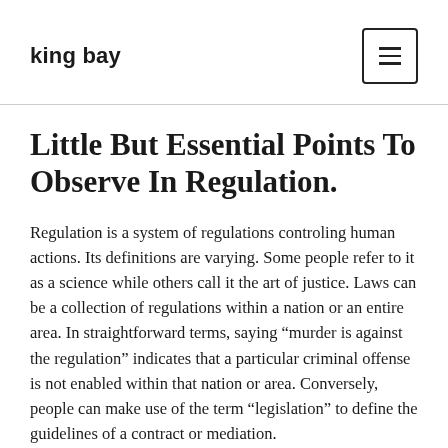king bay
Little But Essential Points To Observe In Regulation.
Regulation is a system of regulations controling human actions. Its definitions are varying. Some people refer to it as a science while others call it the art of justice. Laws can be a collection of regulations within a nation or an entire area. In straightforward terms, saying “murder is against the regulation” indicates that a particular criminal offense is not enabled within that nation or area. Conversely, people can make use of the term “legislation” to define the guidelines of a contract or mediation.